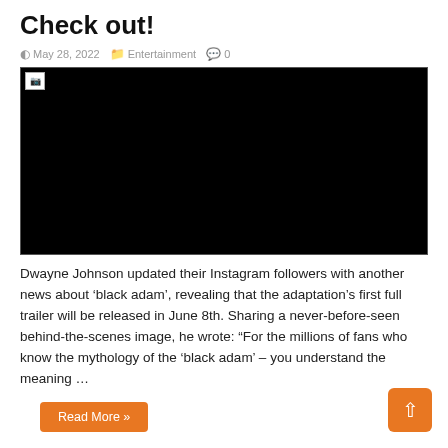Check out!
May 28, 2022   Entertainment   0
[Figure (photo): Black rectangle placeholder image with broken image icon in top-left corner]
Dwayne Johnson updated their Instagram followers with another news about ‘black adam’, revealing that the adaptation’s first full trailer will be released in June 8th. Sharing a never-before-seen behind-the-scenes image, he wrote: “For the millions of fans who know the mythology of the ‘black adam’ – you understand the meaning …
Read More »